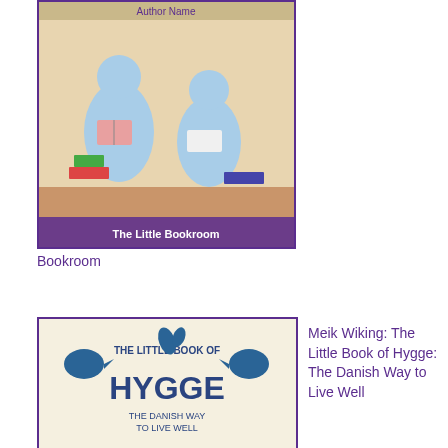[Figure (illustration): Book cover for The Little Bookroom - shows two illustrated figures reading, pastel blue and orange tones]
The Little Bookroom
[Figure (illustration): Book cover for The Little Book of Hygge by Meik Wiking - decorative folk art style with birds, teapot, candles on cream background]
Meik Wiking: The Little Book of Hygge: The Danish Way to Live Well
[Figure (illustration): Book cover for Happier at Home by Gretchen Rubin - teal/blue background with yellow title text and bird illustration]
Gretchen Rubin: Happier at Home: Kiss More...